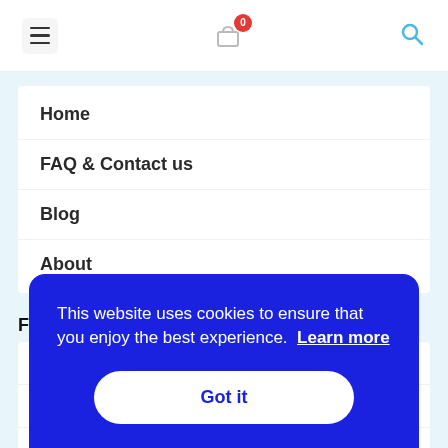[Figure (screenshot): Website header navigation bar with hamburger menu icon on left, shopping cart icon with badge showing 0 in center, and search icon on right]
Home
FAQ & Contact us
Blog
About
Fine p...
Pri...
Re...
Aft...
This website uses cookies to ensure that you enjoy the best experience. Learn more
Got it